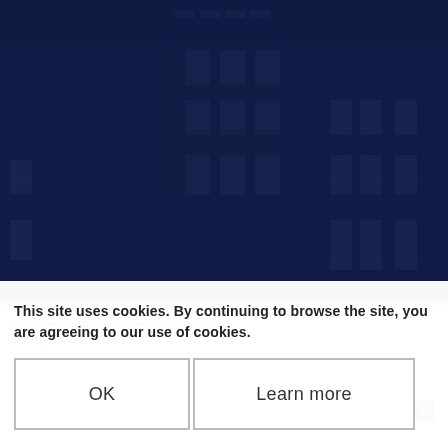[Figure (photo): Dark blue toned photograph of a stone building (institutional/castle-like architecture) with multiple windows and turret features, overlaid with a dark navy blue color filter]
Data Retention | Our Commitment | Proudly built by Lemongrass Media S...
This site uses cookies. By continuing to browse the site, you are agreeing to our use of cookies.